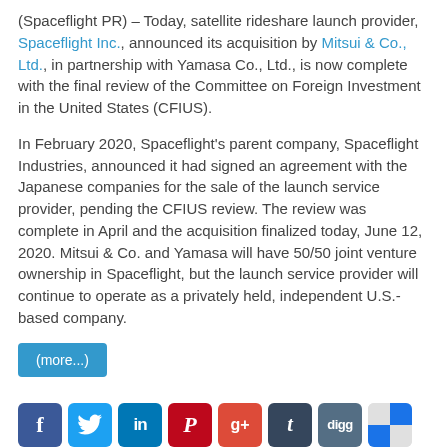(Spaceflight PR) – Today, satellite rideshare launch provider, Spaceflight Inc., announced its acquisition by Mitsui & Co., Ltd., in partnership with Yamasa Co., Ltd., is now complete with the final review of the Committee on Foreign Investment in the United States (CFIUS).
In February 2020, Spaceflight's parent company, Spaceflight Industries, announced it had signed an agreement with the Japanese companies for the sale of the launch service provider, pending the CFIUS review. The review was complete in April and the acquisition finalized today, June 12, 2020. Mitsui & Co. and Yamasa will have 50/50 joint venture ownership in Spaceflight, but the launch service provider will continue to operate as a privately held, independent U.S.-based company.
(more...)
[Figure (other): Social media sharing icons row: Facebook, Twitter, LinkedIn, Pinterest, Google+, Tumblr, Digg, ShareThis]